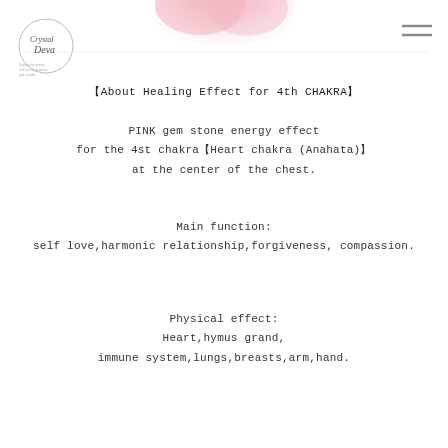[Figure (photo): Pink rose petal or crystal close-up at top of page]
[Figure (logo): Crystal Deva logo — circle with text Crystal Deva and small tagline]
[Figure (other): Hamburger menu icon (three horizontal lines) in top right corner]
【About Healing Effect for 4th CHAKRA】
PINK gem stone energy effect
for the 4st chakra【Heart chakra (Anahata)】
at the center of the chest.
Main function:
self love,harmonic relationship,forgiveness, compassion.
Physical effect:
Heart,hymus grand,
immune system,lungs,breasts,arm,hand.